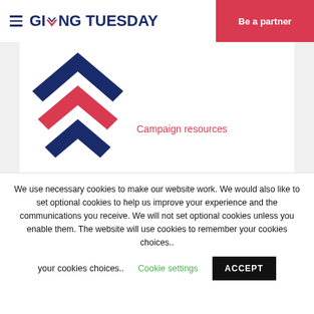GIVING TUESDAY | Be a partner
[Figure (logo): GivingTuesday logo mark — double chevron/check in red and blue]
Campaign resources
We use necessary cookies to make our website work. We would also like to set optional cookies to help us improve your experience and the communications you receive. We will not set optional cookies unless you enable them. The website will use cookies to remember your cookies choices..
Cookie settings
ACCEPT